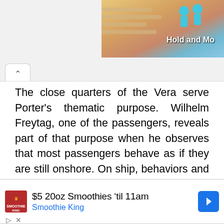[Figure (screenshot): Top banner area with a partial game advertisement showing illustrated figures and 'Hold and Mo...' text on a colorful gradient background]
The close quarters of the Vera serve Porter's thematic purpose. Wilhelm Freytag, one of the passengers, reveals part of that purpose when he observes that most passengers behave as if they are still onshore. On ship, behaviors and actions seem intensified in a negative way. Given that distortion, Porter examines the
[Figure (screenshot): Advertisement overlay: '$5 20oz Smoothies 'til 11am' from Smoothie King with logo and navigation arrow icon]